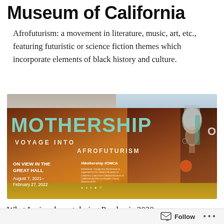Museum of California
Afrofuturism: a movement in literature, music, art, etc., featuring futuristic or science fiction themes which incorporate elements of black history and culture.
[Figure (photo): Outdoor promotional sign panels for 'Mothership: Voyage into Afrofuturism' exhibition at OMCA (Oakland Museum of California). The sign displays the exhibition title in large teal letters on a dark rust/brown gradient background, with text reading 'ON VIEW IN THE GREAT HALL' and dates 'August 7, 2021 – February 27, 2022', '#Mothership #OMCA', and a portrait silhouette of a woman with decorative headwear on the right panel.]
What I missed most during Pandemic 2020 were museum